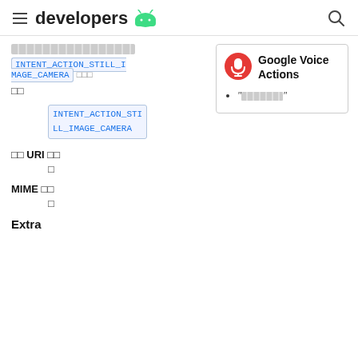developers [Android logo]
[redacted/censored text]
INTENT_ACTION_STILL_IMAGE_CAMERA [squares]
[censored]
INTENT_ACTION_STILL_IMAGE_CAMERA
[Figure (infographic): Google Voice Actions panel with microphone icon, title 'Google Voice Actions', and bullet point with redacted text]
입력 URI 없음
없
MIME 없음
없
Extra